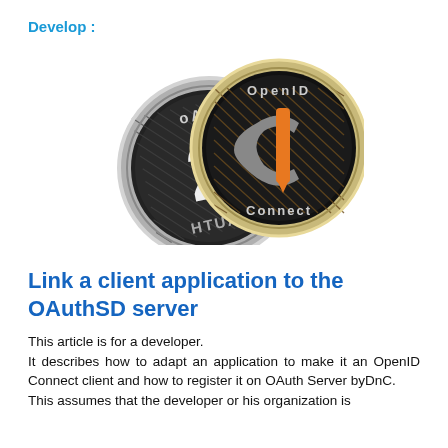Develop :
[Figure (logo): Two overlapping coin-like logos: one showing 'OAuth 2' in dark/silver colors, and one showing 'OpenID Connect' in dark with an orange key-like symbol in the center, on a white background.]
Link a client application to the OAuthSD server
This article is for a developer.
It describes how to adapt an application to make it an OpenID Connect client and how to register it on OAuth Server byDnC.
This assumes that the developer or his organization is